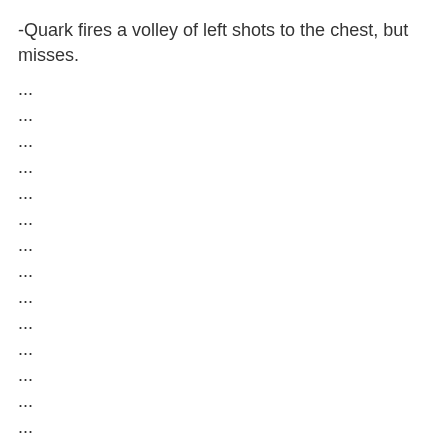-Quark fires a volley of left shots to the chest, but misses.
...
...
...
...
...
...
...
...
...
...
...
...
...
...
...
...
...
...